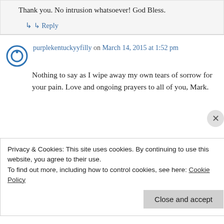Thank you. No intrusion whatsoever! God Bless.
↳ Reply
purplekentuckyyfilly on March 14, 2015 at 1:52 pm
Nothing to say as I wipe away my own tears of sorrow for your pain. Love and ongoing prayers to all of you, Mark.
Privacy & Cookies: This site uses cookies. By continuing to use this website, you agree to their use.
To find out more, including how to control cookies, see here: Cookie Policy
Close and accept